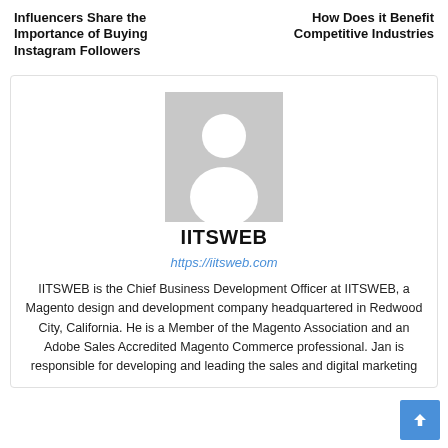Influencers Share the Importance of Buying Instagram Followers
How Does it Benefit Competitive Industries
[Figure (illustration): Generic user avatar placeholder image — grey background with white silhouette of a person (head and shoulders)]
IITSWEB
https://iitsweb.com
IITSWEB is the Chief Business Development Officer at IITSWEB, a Magento design and development company headquartered in Redwood City, California. He is a Member of the Magento Association and an Adobe Sales Accredited Magento Commerce professional. Jan is responsible for developing and leading the sales and digital marketing